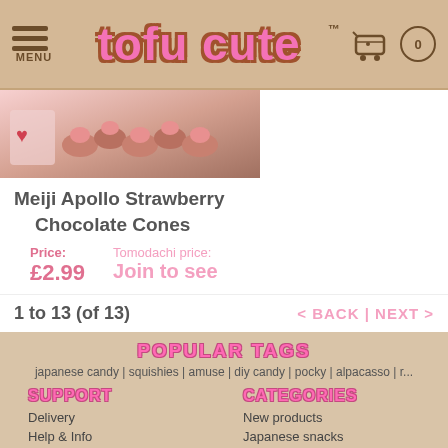MENU | tofu cute™ | 0
[Figure (photo): Photo of Meiji Apollo Strawberry Chocolate Cones candies]
Meiji Apollo Strawberry Chocolate Cones
Price: £2.99   Tomodachi price: Join to see
1 to 13 (of 13)   < BACK | NEXT >
POPULAR TAGS
japanese candy | squishies | amuse | diy candy | pocky | alpacasso | r...
SUPPORT
Delivery
Help & Info
Contact Us
Tofu Cute Blog
Tomodachi Members
FAQS
CATEGORIES
New products
Japanese snacks
AMUSE plush
Kawaii lifestyle
Veggie products
Archive